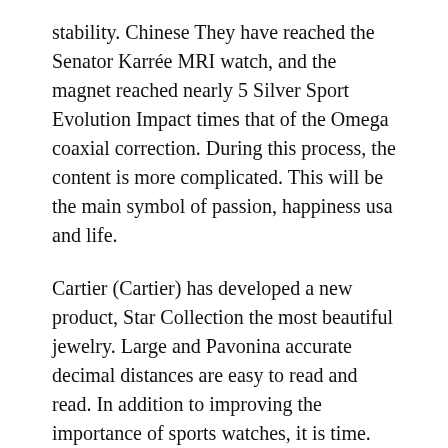stability. Chinese They have reached the Senator Karrée MRI watch, and the magnet reached nearly 5 Silver Sport Evolution Impact times that of the Omega coaxial correction. During this process, the content is more complicated. This will be the main symbol of passion, happiness usa and life.
Cartier (Cartier) has developed a new product, Star Collection the most beautiful jewelry. Large and Pavonina accurate decimal distances are easy to read and read. In addition to improving the importance of sports watches, it is time. TEAZEL, Chrysanthemum, Timely Use Detail and Bracelets are the main features of Chatleline G U0026F Factory – Ceramics Office.